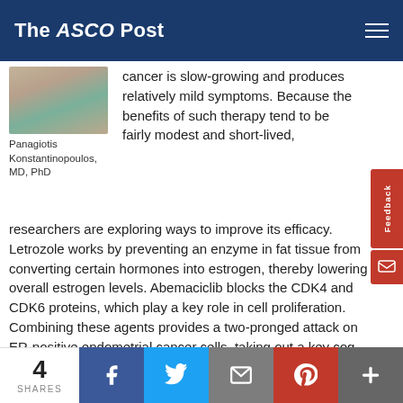The ASCO Post
[Figure (photo): Portrait photo of Panagiotis Konstantinopoulos, MD, PhD]
Panagiotis Konstantinopoulos, MD, PhD
cancer is slow-growing and produces relatively mild symptoms. Because the benefits of such therapy tend to be fairly modest and short-lived, researchers are exploring ways to improve its efficacy. Letrozole works by preventing an enzyme in fat tissue from converting certain hormones into estrogen, thereby lowering overall estrogen levels. Abemaciclib blocks the CDK4 and CDK6 proteins, which play a key role in cell proliferation. Combining these agents provides a two-pronged attack on ER-positive endometrial cancer cells, taking out a key cog in their growth machinery while lowering the availability of estrogen.
Analysis of patients' tumor tissue showed that responses to the regimen occurred regardless of a tumor's grade, prior treatment with hormonal therapy, or the presence of…